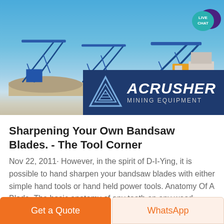[Figure (photo): Industrial mining conveyor belt equipment and machinery at an open-air site with blue sky background, with ACRUSHER Mining Equipment logo overlay in dark blue.]
Sharpening Your Own Bandsaw Blades. - The Tool Corner
Nov 22, 2011· However, in the spirit of D-I-Ying, it is possible to hand sharpen your bandsaw blades with either simple hand tools or hand held power tools. Anatomy Of A Blade. The basic anatomy of any tooth on any wood cutting saw
Get a Quote
WhatsApp